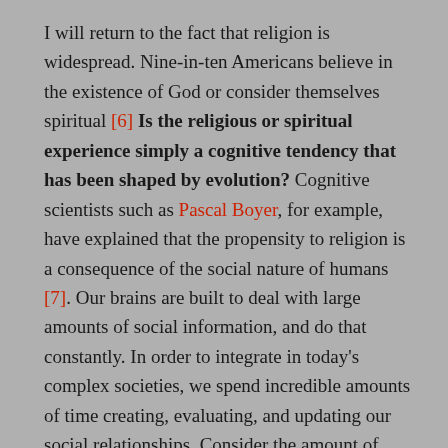I will return to the fact that religion is widespread. Nine-in-ten Americans believe in the existence of God or consider themselves spiritual [6] Is the religious or spiritual experience simply a cognitive tendency that has been shaped by evolution? Cognitive scientists such as Pascal Boyer, for example, have explained that the propensity to religion is a consequence of the social nature of humans [7]. Our brains are built to deal with large amounts of social information, and do that constantly. In order to integrate in today's complex societies, we spend incredible amounts of time creating, evaluating, and updating our social relationships. Consider the amount of time we spend trying to understand what others think and why they think it. Think about the ease with which we